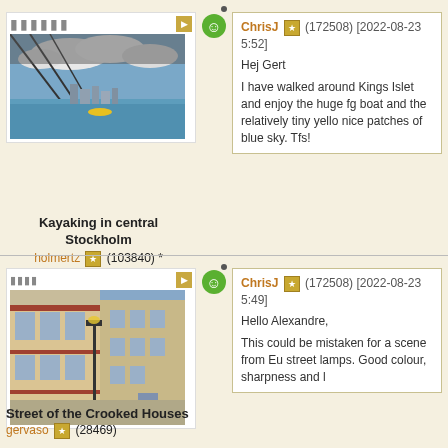[Figure (photo): Photo of kayaking under a bridge in central Stockholm, with water, clouds and city skyline visible]
Kayaking in central Stockholm
holmertz (103840) *
ChrisJ (172508) [2022-08-23 5:52]
Hej Gert

I have walked around Kings Islet and enjoy the huge fg boat and the relatively tiny yello nice patches of blue sky. Tfs!
[Figure (photo): Photo of a colonial street with crooked houses, street lamps, and colorful buildings in Brazil]
Street of the Crooked Houses
gervaso (28469)
ChrisJ (172508) [2022-08-23 5:49]
Hello Alexandre,

This could be mistaken for a scene from Eu street lamps. Good colour, sharpness and l